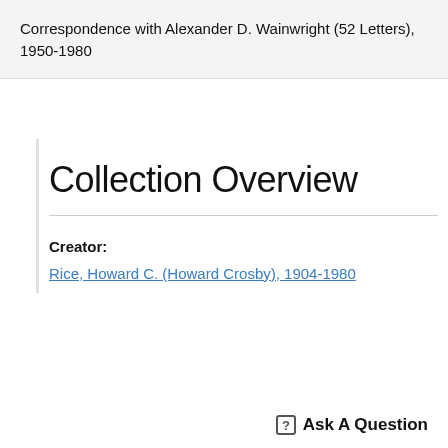Correspondence with Alexander D. Wainwright (52 Letters), 1950-1980
Collection Overview
Creator:
Rice, Howard C. (Howard Crosby), 1904-1980
Ask A Question